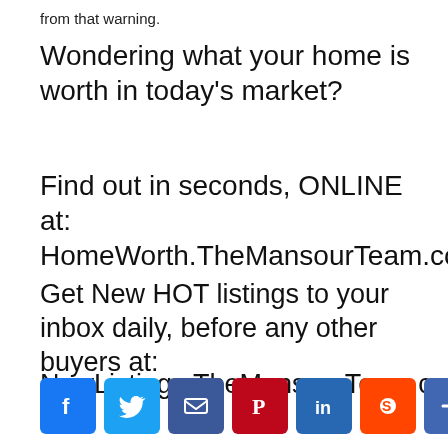from that warning.
Wondering what your home is worth in today’s market?
Find out in seconds, ONLINE at: HomeWorth.TheMansourTeam.com
Get New HOT listings to your inbox daily, before any other buyers at:
NewListings.TheMansourTeam.com
[Figure (infographic): Social sharing buttons row: Facebook (blue), Twitter (light blue), Email (dark blue), Pinterest (red), LinkedIn (blue), Reddit (orange), Share/Plus (blue)]